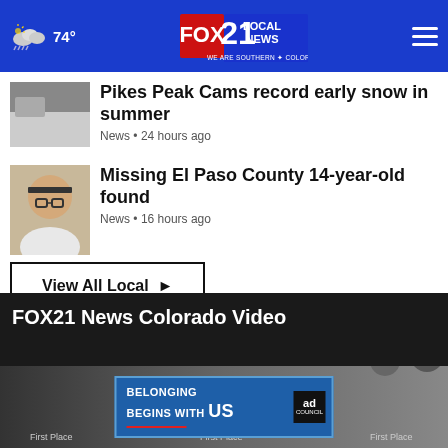FOX21 Local News — WE ARE SOUTHERN COLORADO | 74°
Pikes Peak Cams record early snow in summer
News • 24 hours ago
Missing El Paso County 14-year-old found
News • 16 hours ago
View All Local ▶
FOX21 News Colorado Video
[Figure (screenshot): Advertisement banner: BELONGING BEGINS WITH US — Ad Council logo]